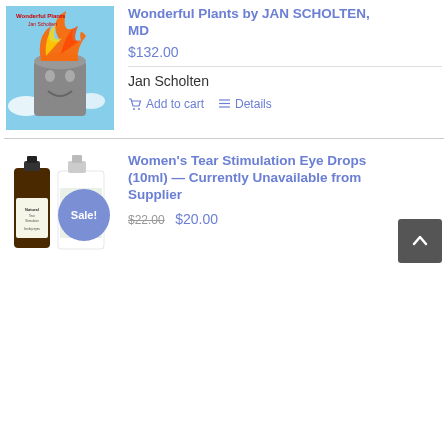[Figure (photo): Book cover for Wonderful Plants by Jan Scholten, MD — colorful illustration of a face with flames/flowers]
Wonderful Plants by JAN SCHOLTEN, MD
$132.00
Jan Scholten
Add to cart  Details
[Figure (photo): Two product bottles for Women's Tear Stimulation Eye Drops (10ml) with a Sale! badge overlay]
Women's Tear Stimulation Eye Drops (10ml) — Currently Unavailable from Supplier
$22.00  $20.00